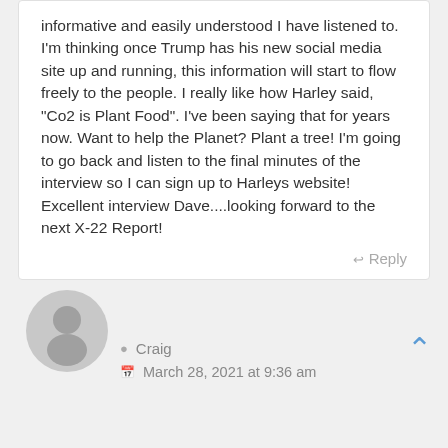informative and easily understood I have listened to. I'm thinking once Trump has his new social media site up and running, this information will start to flow freely to the people. I really like how Harley said, "Co2 is Plant Food". I've been saying that for years now. Want to help the Planet? Plant a tree! I'm going to go back and listen to the final minutes of the interview so I can sign up to Harleys website! Excellent interview Dave....looking forward to the next X-22 Report!
Reply
[Figure (illustration): Generic gray user avatar icon showing a silhouette of a person]
Craig
March 28, 2021 at 9:36 am